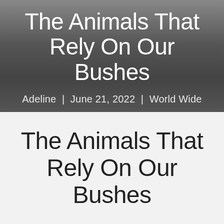The Animals That Rely On Our Bushes
Adeline | June 21, 2022 | World Wide
The Animals That Rely On Our Bushes